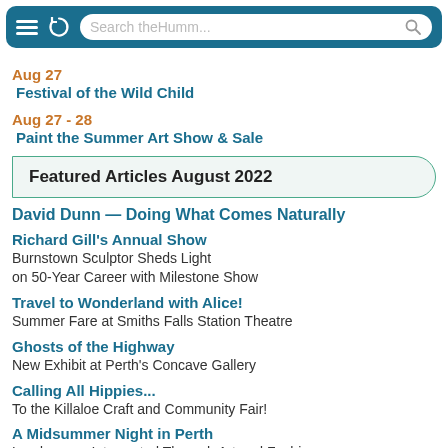[Figure (screenshot): Mobile browser header bar with teal background, hamburger menu icon, refresh icon, and search bar reading 'Search theHumm...']
Aug 27
Festival of the Wild Child
Aug 27 - 28
Paint the Summer Art Show & Sale
Featured Articles August 2022
David Dunn — Doing What Comes Naturally
Richard Gill's Annual Show
Burnstown Sculptor Sheds Light on 50-Year Career with Milestone Show
Travel to Wonderland with Alice!
Summer Fare at Smiths Falls Station Theatre
Ghosts of the Highway
New Exhibit at Perth's Concave Gallery
Calling All Hippies...
To the Killaloe Craft and Community Fair!
A Midsummer Night in Perth
Landscapes Interpreted Through Art and Fashion
MMLT Presents The Festival of the Wild Child